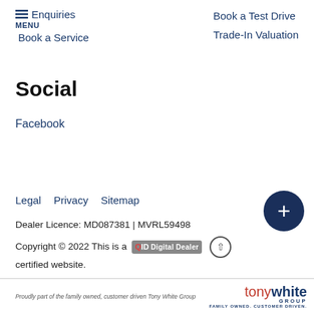Enquiries | Book a Test Drive | MENU | Book a Service | Trade-In Valuation
Social
Facebook
Legal
Privacy
Sitemap
Dealer Licence: MD087381 | MVRL59498
Copyright © 2022 This is a QID Digital Dealer certified website.
Proudly part of the family owned, customer driven Tony White Group — tonywhite GROUP FAMILY OWNED. CUSTOMER DRIVEN.